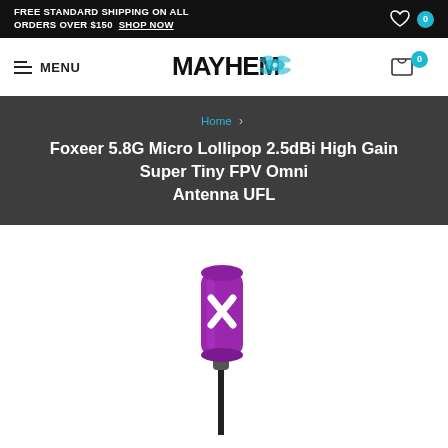FREE STANDARD SHIPPING ON ALL ORDERS OVER $150  SHOP NOW
MENU
[Figure (logo): Mayhem FPV drone store logo with stylized text and drone graphic in teal/black]
Breadcrumb: Home › Foxeer 5.8G Micro Lollipop 2.5dBi High Gain Super Tiny FPV Omni Antenna UFL
Foxeer 5.8G Micro Lollipop 2.5dBi High Gain Super Tiny FPV Omni Antenna UFL
[Figure (photo): Purple Foxeer Micro Lollipop FPV antenna with X logo on top, connected to a thin black cable, shown on white background]